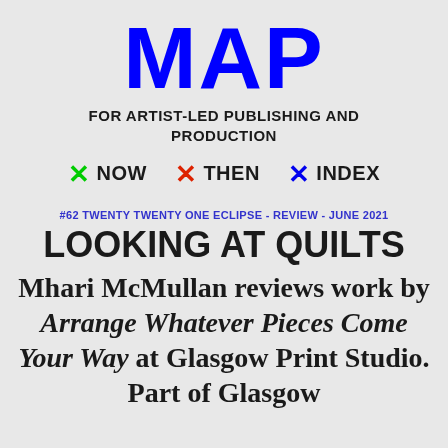MAP
FOR ARTIST-LED PUBLISHING AND PRODUCTION
✕ NOW
✕ THEN
✕ INDEX
#62 TWENTY TWENTY ONE ECLIPSE - REVIEW - JUNE 2021
LOOKING AT QUILTS
Mhari McMullan reviews work by Arrange Whatever Pieces Come Your Way at Glasgow Print Studio. Part of Glasgow